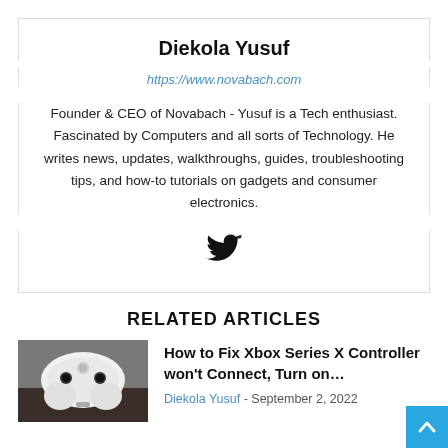Diekola Yusuf
https://www.novabach.com
Founder & CEO of Novabach - Yusuf is a Tech enthusiast. Fascinated by Computers and all sorts of Technology. He writes news, updates, walkthroughs, guides, troubleshooting tips, and how-to tutorials on gadgets and consumer electronics.
[Figure (illustration): Twitter bird icon]
RELATED ARTICLES
[Figure (photo): White Xbox Series X controller on a dark surface]
How to Fix Xbox Series X Controller won't Connect, Turn on…
Diekola Yusuf - September 2, 2022